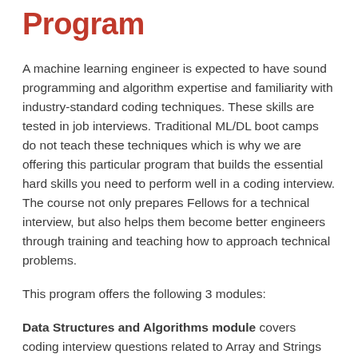Program
A machine learning engineer is expected to have sound programming and algorithm expertise and familiarity with industry-standard coding techniques. These skills are tested in job interviews. Traditional ML/DL boot camps do not teach these techniques which is why we are offering this particular program that builds the essential hard skills you need to perform well in a coding interview. The course not only prepares Fellows for a technical interview, but also helps them become better engineers through training and teaching how to approach technical problems.
This program offers the following 3 modules:
Data Structures and Algorithms module covers coding interview questions related to Array and Strings